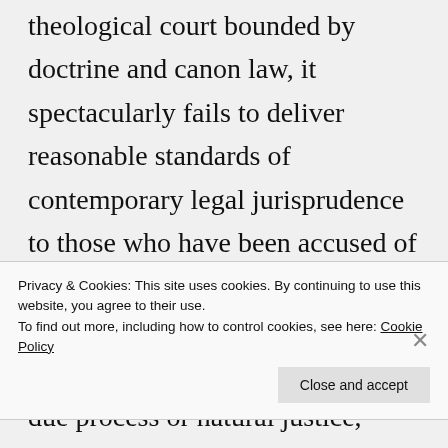theological court bounded by doctrine and canon law, it spectacularly fails to deliver reasonable standards of contemporary legal jurisprudence to those who have been accused of an offence. Fr. Greg Reynolds' excommunication has occurred without the juridical standard of due process or natural justice, which can be found in practice in all
Privacy & Cookies: This site uses cookies. By continuing to use this website, you agree to their use. To find out more, including how to control cookies, see here: Cookie Policy
Close and accept